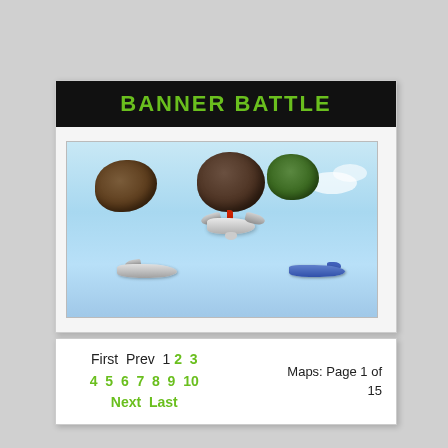BANNER BATTLE
[Figure (screenshot): A 3D game screenshot showing floating rocky islands and small spacecraft in a light blue sky. Three rocky/earthy floating islands are visible at the top. A central white spacecraft with wings hovers in the middle. A smaller grey ship is at the lower left, and a blue ship is at the lower right.]
First  Prev  1  2  3
4  5  6  7  8  9  10
Next  Last
Maps: Page 1 of 15